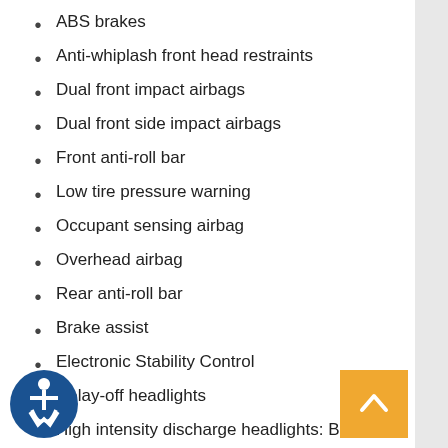ABS brakes
Anti-whiplash front head restraints
Dual front impact airbags
Dual front side impact airbags
Front anti-roll bar
Low tire pressure warning
Occupant sensing airbag
Overhead airbag
Rear anti-roll bar
Brake assist
Electronic Stability Control
Delay-off headlights
High intensity discharge headlights: Bi-Xenon
Panic alarm
Security system
Speed control
Bumpers: body-color
Heated door mirrors